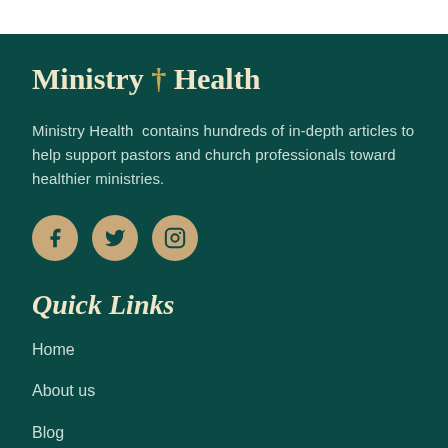Ministry † Health
Ministry Health  contains hundreds of in-depth articles to help support pastors and church professionals toward healthier ministries.
[Figure (infographic): Social media icons: Facebook, Twitter, Instagram - circular tan/gold buttons on dark teal background]
Quick Links
Home
About us
Blog